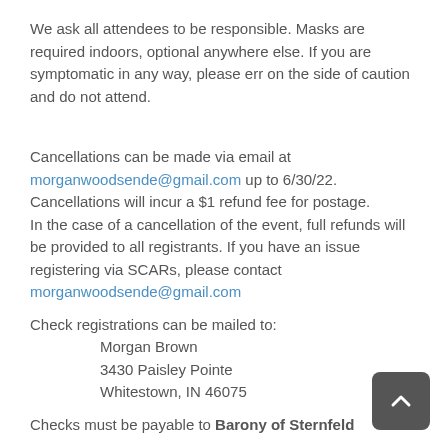We ask all attendees to be responsible. Masks are required indoors, optional anywhere else. If you are symptomatic in any way, please err on the side of caution and do not attend.
Cancellations can be made via email at morganwoodsende@gmail.com up to 6/30/22. Cancellations will incur a $1 refund fee for postage.
In the case of a cancellation of the event, full refunds will be provided to all registrants. If you have an issue registering via SCARs, please contact morganwoodsende@gmail.com
Check registrations can be mailed to:
    Morgan Brown
    3430 Paisley Pointe
    Whitestown, IN 46075
Checks must be payable to Barony of Sternfeld